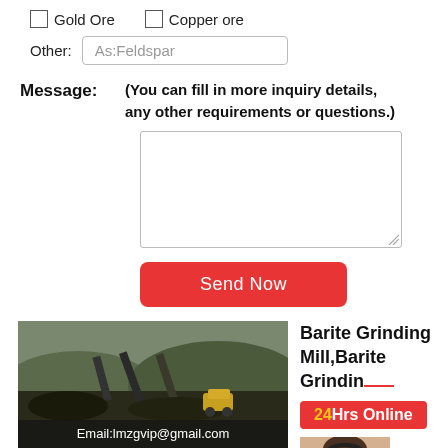Gold Ore
Copper ore
Other: As:Feldspar
Message: (You can fill in more inquiry details, any other requirements or questions.)
Send Now
Barite Grinding Mill,Barite Grinding
24Hrs Online
[Figure (photo): Industrial mining site with conveyor belts, ore piles, and a yellow loader. Overlay text: Email:lmzgvip@gmail.com]